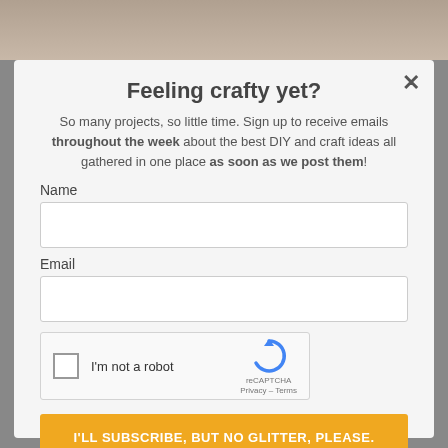Feeling crafty yet?
So many projects, so little time. Sign up to receive emails throughout the week about the best DIY and craft ideas all gathered in one place as soon as we post them!
Name
Email
[Figure (other): reCAPTCHA widget with checkbox and 'I'm not a robot' label]
I'LL SUBSCRIBE, BUT NO GLITTER, PLEASE.